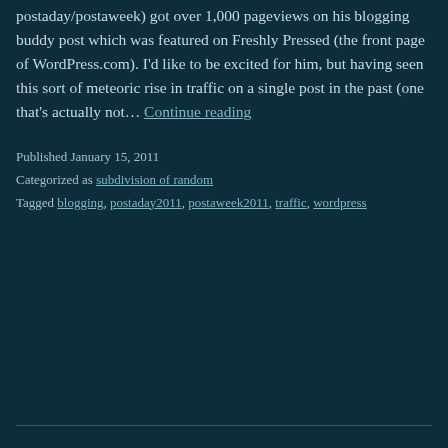postaday/postaweek) got over 1,000 pageviews on his blogging buddy post which was featured on Freshly Pressed (the front page of WordPress.com). I'd like to be excited for him, but having seen this sort of meteoric rise in traffic on a single post in the past (one that's actually not… Continue reading
Published January 15, 2011
Categorized as subdivision of random
Tagged blogging, postaday2011, postaweek2011, traffic, wordpress